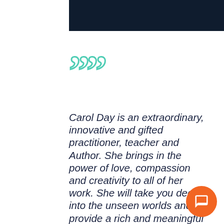[Figure (other): Dark navy blue header bar across the top of the page]
””
Carol Day is an extraordinary, innovative and gifted practitioner, teacher and Author. She brings in the power of love, compassion and creativity to all of her work. She will take you deep into the unseen worlds and provide a rich and meaningful experience for you.